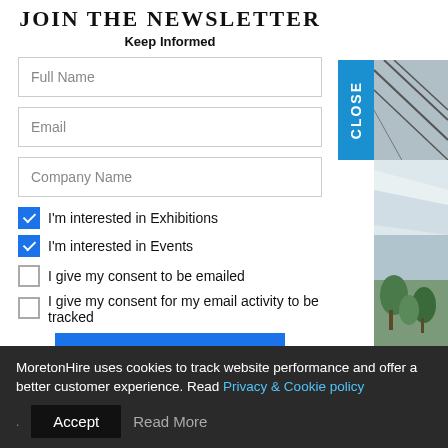JOIN THE NEWSLETTER
Keep Informed
Full Name
Email
Company Name
I'm interested in Exhibitions
I'm interested in Events
I give my consent to be emailed
I give my consent for my email activity to be tracked
[Figure (photo): Venue photo showing an exhibition or events space with structural steel framework, white canopy/tent, and tropical plants outside.]
MoretonHire uses cookies to track website performance and offer a better customer experience. Read Privacy & Cookie policy
Accept
Read More